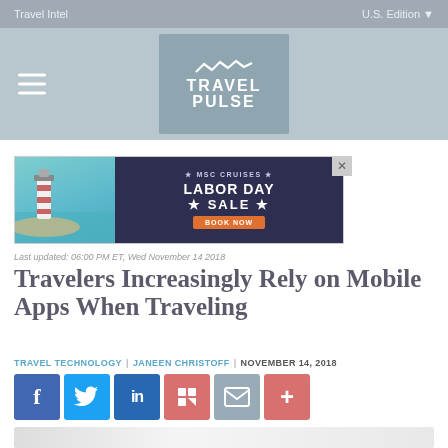Travel Intel | U.S. Edition
[Figure (logo): Travel Pulse logo with hamburger menu icon on gray bar]
[Figure (illustration): MSC Cruises Labor Day Sale advertisement banner with cruise ship and lighthouse imagery]
Last updated: 06:00 PM ET, Wed November 14 2018
Travelers Increasingly Rely on Mobile Apps When Traveling
TRAVEL TECHNOLOGY | JANEEN CHRISTOFF | NOVEMBER 14, 2018
[Figure (infographic): Social media sharing buttons: Facebook, Twitter, LinkedIn, Flipboard, Email, More]